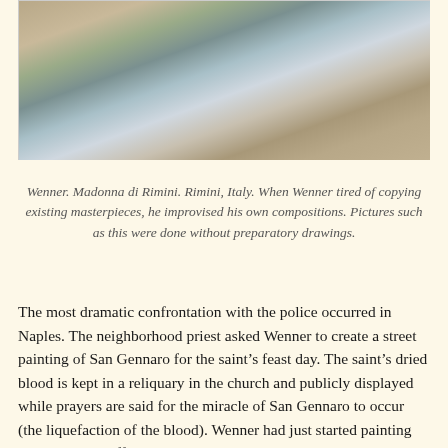[Figure (photo): Aerial/overhead photo of a street painting in progress showing Madonna di Rimini artwork with tools and materials visible]
Wenner. Madonna di Rimini. Rimini, Italy. When Wenner tired of copying existing masterpieces, he improvised his own compositions. Pictures such as this were done without preparatory drawings.
The most dramatic confrontation with the police occurred in Naples. The neighborhood priest asked Wenner to create a street painting of San Gennaro for the saint's feast day. The saint's dried blood is kept in a reliquary in the church and publicly displayed while prayers are said for the miracle of San Gennaro to occur (the liquefaction of the blood). Wenner had just started painting when a police officer arrived and ordered him to move on. Wenner returned to the church and found the priest.
The priest said Wenner had his protection and, more important, the protection of San Gennaro. He advised Wenner to return to the painting, adding that the officer would have already departed. Wenner continued working on the street painting for a few hours before the officer returned with a companion. By then, a large